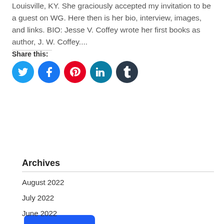Louisville, KY. She graciously accepted my invitation to be a guest on WG. Here then is her bio, interview, images, and links. BIO: Jesse V. Coffey wrote her first books as author, J. W. Coffey....
Share this:
[Figure (infographic): Five social media icon circles: Twitter (light blue), Facebook (blue), Pinterest (red), LinkedIn (teal), Tumblr (dark navy)]
Read More
Archives
August 2022
July 2022
June 2022